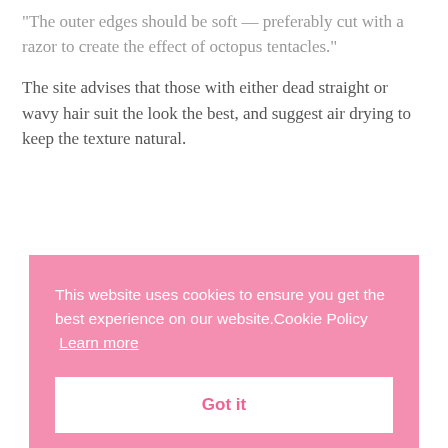“The outer edges should be soft — preferably cut with a razor to create the effect of octopus tentacles.”
The site advises that those with either dead straight or wavy hair suit the look the best, and suggest air drying to keep the texture natural.
This website uses cookies to ensure you get the best experience on our website.Cookie Policy  Learn more
Got it